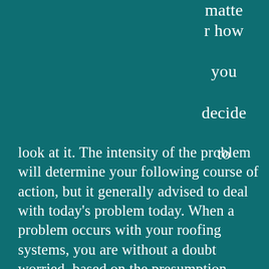matter how you decide to look at it. The intensity of the problem will determine your following course of action, but it generally advised to deal with today's problem today. When a problem occurs with your roofing systems, you are without a doubt worried, based on the presumption you're an amateur in the field of roofing. Although new techniques and products are being developed daily, there isn't a roof in existence that will guarantee a 100% functionality with no level of maintenance whatsoever, and I almost forgot, it will also last forever. Like until the end of time. It sounds like science-fiction material, but that is the goal of every roofer in the industry. The unattainable goal which all of them strive to achieve. Metal roofing is one of the